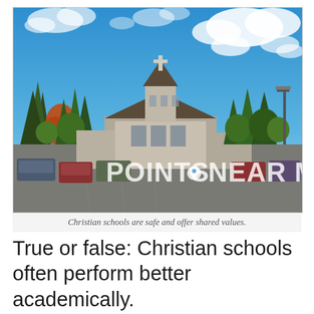[Figure (photo): Photograph of a Christian school/church building with a bell tower and cross, surrounded by trees, with a parking lot in the foreground under a partly cloudy blue sky. A 'POINTS NEAR ME' watermark with a location pin icon is overlaid on the image.]
Christian schools are safe and offer shared values.
True or false: Christian schools often perform better academically.